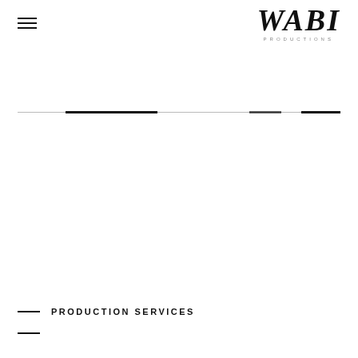[Figure (logo): Hamburger menu icon (three horizontal lines) in top-left corner]
[Figure (logo): WABI PRODUCTIONS logo in top-right corner with large serif italic WABI text and small uppercase PRODUCTIONS subtitle]
[Figure (other): Horizontal decorative divider line across the page with varying thickness segments (light gray and dark black alternating)]
PRODUCTION SERVICES
[Figure (other): Short horizontal dash at bottom left, beginning of another section label row]